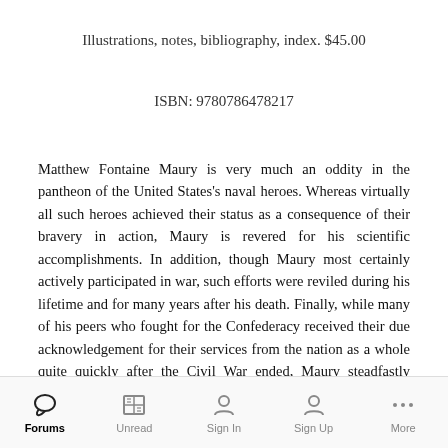Illustrations, notes, bibliography, index. $45.00
ISBN: 9780786478217
Matthew Fontaine Maury is very much an oddity in the pantheon of the United States's naval heroes. Whereas virtually all such heroes achieved their status as a consequence of their bravery in action, Maury is revered for his scientific accomplishments. In addition, though Maury most certainly actively participated in war, such efforts were reviled during his lifetime and for many years after his death. Finally, while many of his peers who fought for the Confederacy received their due acknowledgement for their services from the nation as a whole quite quickly after the Civil War ended, Maury steadfastly adhered to the Confederate States of
Forums  Unread  Sign In  Sign Up  More